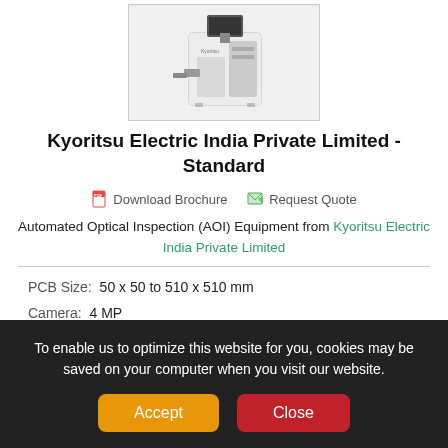[Figure (photo): Automated Optical Inspection (AOI) machine - white industrial cabinet unit with a monitor arm and inspection head, shown in a bordered box]
Kyoritsu Electric India Private Limited - Standard
Download Brochure   Request Quote
Automated Optical Inspection (AOI) Equipment from Kyoritsu Electric India Private Limited
PCB Size:  50 x 50 to 510 x 510 mm
Camera:  4 MP
Field of View:  40 x 40 mm
To enable us to optimize this website for you, cookies may be saved on your computer when you visit our website.